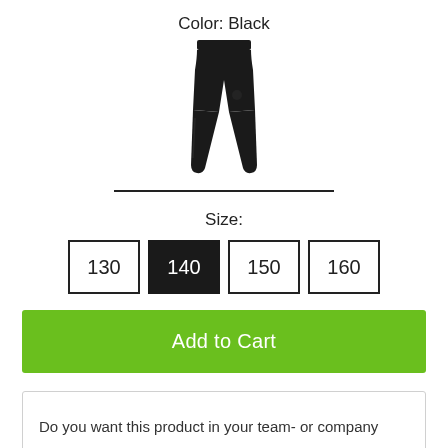Color: Black
[Figure (illustration): Black compression tights/leggings product image shown from front view]
Size:
130  140  150  160
Add to Cart
Do you want this product in your team- or company